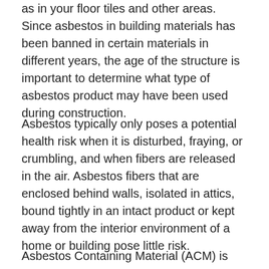as in your floor tiles and other areas. Since asbestos in building materials has been banned in certain materials in different years, the age of the structure is important to determine what type of asbestos product may have been used during construction.
Asbestos typically only poses a potential health risk when it is disturbed, fraying, or crumbling, and when fibers are released in the air. Asbestos fibers that are enclosed behind walls, isolated in attics, bound tightly in an intact product or kept away from the interior environment of a home or building pose little risk.
Asbestos Containing Material (ACM) is